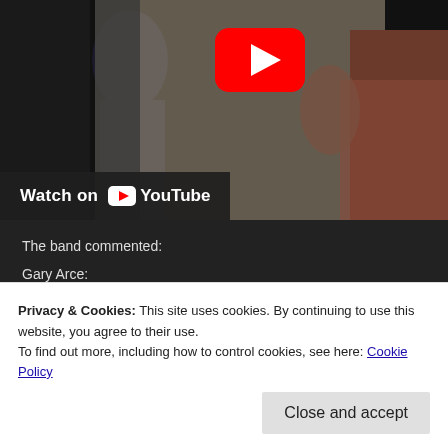[Figure (screenshot): YouTube video thumbnail showing silhouetted figures, with a large red YouTube play button in the upper center and a 'Watch on YouTube' bar at the bottom of the video area.]
The band commented:
Gary Arce:
"LeDu" was inspired by one of my favorite bands of all time Husker Du, a
Privacy & Cookies: This site uses cookies. By continuing to use this website, you agree to their use.
To find out more, including how to control cookies, see here: Cookie Policy
Close and accept